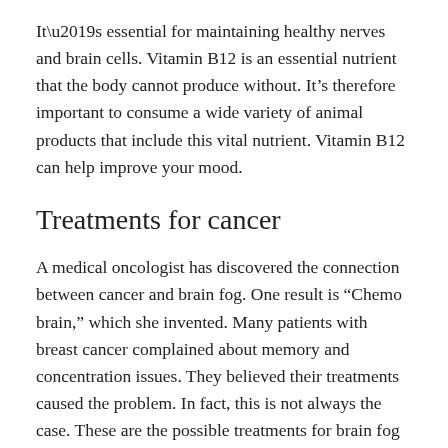It’s essential for maintaining healthy nerves and brain cells. Vitamin B12 is an essential nutrient that the body cannot produce without. It’s therefore important to consume a wide variety of animal products that include this vital nutrient. Vitamin B12 can help improve your mood.
Treatments for cancer
A medical oncologist has discovered the connection between cancer and brain fog. One result is “Chemo brain,” which she invented. Many patients with breast cancer complained about memory and concentration issues. They believed their treatments caused the problem. In fact, this is not always the case. These are the possible treatments for brain fog caused by cancer. (Skip to the end of the article to learn